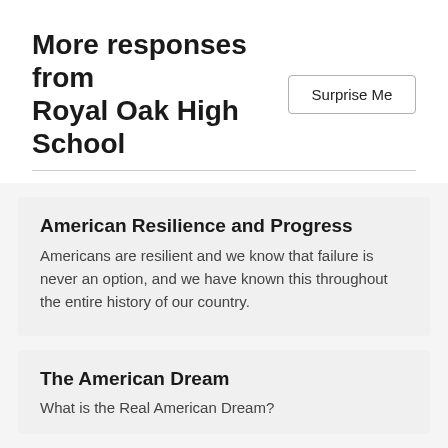More responses from Royal Oak High School
Surprise Me
American Resilience and Progress
Americans are resilient and we know that failure is never an option, and we have known this throughout the entire history of our country.
The American Dream
What is the Real American Dream?